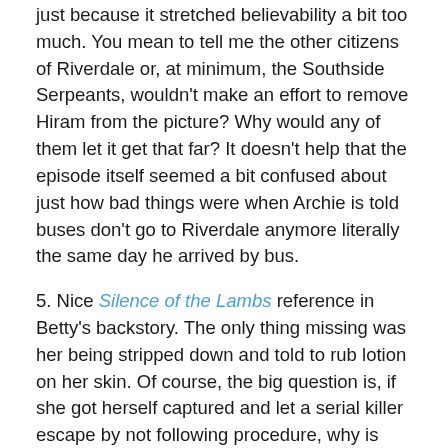just because it stretched believability a bit too much. You mean to tell me the other citizens of Riverdale or, at minimum, the Southside Serpeants, wouldn't make an effort to remove Hiram from the picture? Why would any of them let it get that far? It doesn't help that the episode itself seemed a bit confused about just how bad things were when Archie is told buses don't go to Riverdale anymore literally the same day he arrived by bus.
5. Nice Silence of the Lambs reference in Betty's backstory. The only thing missing was her being stripped down and told to rub lotion on her skin. Of course, the big question is, if she got herself captured and let a serial killer escape by not following procedure, why is she even still in the FBI? I would think they would have fired her on the spot.
6. Any bets the serial killer she let get away will somehow wind up in Riverdale this season?
7. Seeing Jughead as a failed writer fending off debt collectors was interesting but also didn't make a whole lot of